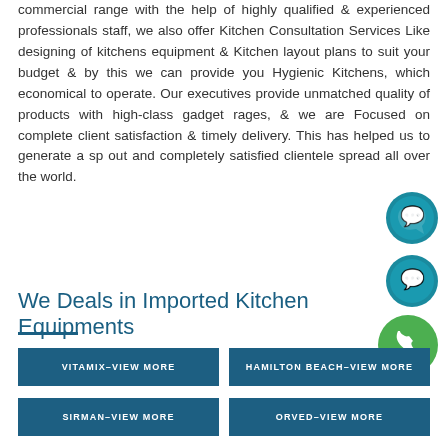commercial range with the help of highly qualified & experienced professionals staff, we also offer Kitchen Consultation Services Like designing of kitchens equipment & Kitchen layout plans to suit your budget & by this we can provide you Hygienic Kitchens, which economical to operate. Our executives provide unmatched quality of products with high-class gadget rages, & we are Focused on complete client satisfaction & timely delivery. This has helped us to generate a spread out and completely satisfied clientele spread all over the world.
[Figure (illustration): WhatsApp chat icon (teal circle with speech bubble)]
[Figure (illustration): WhatsApp chat icon (teal circle with speech bubble)]
[Figure (illustration): Phone icon (green circle with phone handset)]
We Deals in Imported Kitchen Equipments
VITAMIX–VIEW MORE
HAMILTON BEACH–VIEW MORE
SIRMAN–VIEW MORE
ORVED–VIEW MORE